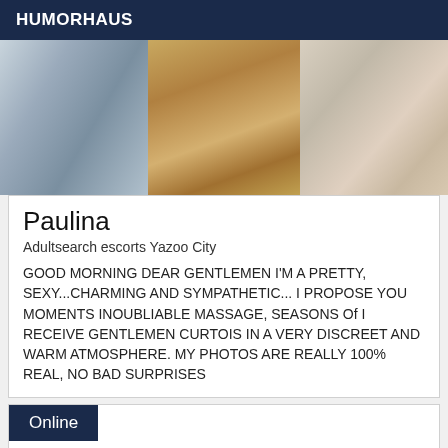HUMORHAUS
[Figure (photo): Three-panel photo showing rough textured surfaces: left panel shows blue-grey weathered material, middle panel shows warm brown/golden bark or wood texture, right panel shows pale cracked plaster or stone surface.]
Paulina
Adultsearch escorts Yazoo City
GOOD MORNING DEAR GENTLEMEN I'M A PRETTY, SEXY...CHARMING AND SYMPATHETIC... I PROPOSE YOU MOMENTS INOUBLIABLE MASSAGE, SEASONS Of I RECEIVE GENTLEMEN CURTOIS IN A VERY DISCREET AND WARM ATMOSPHERE. MY PHOTOS ARE REALLY 100% REAL, NO BAD SURPRISES
Online